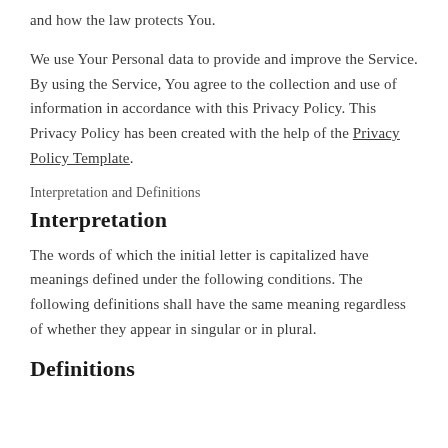and how the law protects You.
We use Your Personal data to provide and improve the Service. By using the Service, You agree to the collection and use of information in accordance with this Privacy Policy. This Privacy Policy has been created with the help of the Privacy Policy Template.
Interpretation and Definitions
Interpretation
The words of which the initial letter is capitalized have meanings defined under the following conditions. The following definitions shall have the same meaning regardless of whether they appear in singular or in plural.
Definitions